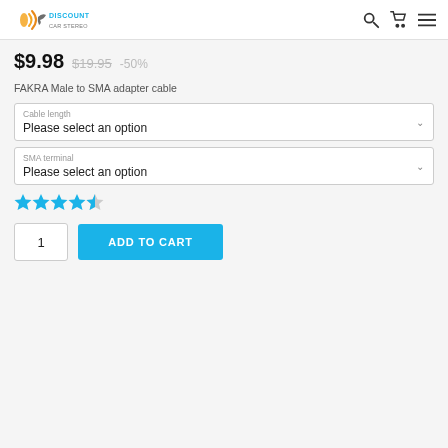Discount Car Stereo — navigation header with search, cart, and menu icons
$9.98  $19.95  -50%
FAKRA Male to SMA adapter cable
Cable length — Please select an option
SMA terminal — Please select an option
[Figure (other): 4.5 star rating (4 full stars and 1 half star) in blue]
Quantity: 1  ADD TO CART